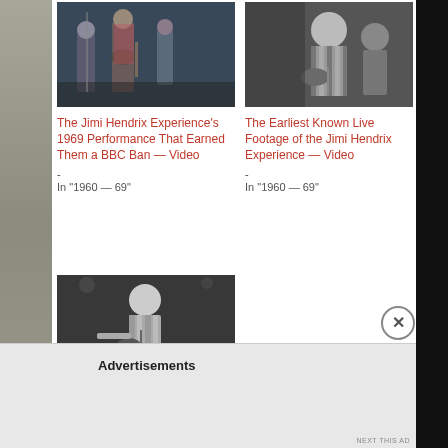[Figure (photo): Black and white / color concert photo of Jimi Hendrix Experience performing on stage, 1969]
The Jimi Hendrix Experience's 1969 Performance That Earned Them a BBC Ban — Video
-
In "1960 — 69"
[Figure (photo): Black and white photo of Jimi Hendrix sitting with guitar]
The Earliest Known Live Footage of the Jimi Hendrix Experience — Video
-
In "1960 — 69"
[Figure (photo): Black and white photo of Jimi Hendrix playing guitar with Band of Gypsys]
Jimi Hendrix with the Band of Gypsys
Advertisements